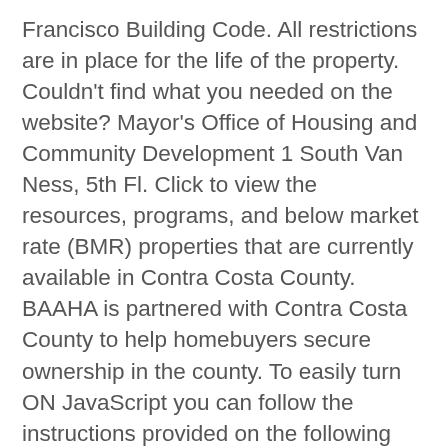Francisco Building Code. All restrictions are in place for the life of the property. Couldn't find what you needed on the website? Mayor's Office of Housing and Community Development 1 South Van Ness, 5th Fl. Click to view the resources, programs, and below market rate (BMR) properties that are currently available in Contra Costa County. BAAHA is partnered with Contra Costa County to help homebuyers secure ownership in the county. To easily turn ON JavaScript you can follow the instructions provided on the following websites: Enable JavaScript and WikiHow. Current First Come, First Served BMR Listings October 20 th , 2020 Reminder : Before you can apply for any of these listings, you must complete homebuyer education and get a … For general program inquiries, you may call MOHCD at 415-701-5500. Close Panel. The